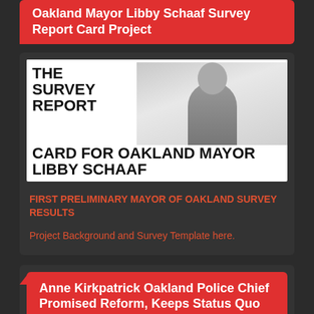Oakland Mayor Libby Schaaf Survey Report Card Project
[Figure (photo): Book cover showing 'THE SURVEY REPORT CARD FOR OAKLAND MAYOR LIBBY SCHAAF' with a photo of Libby Schaaf smiling]
FIRST PRELIMINARY MAYOR OF OAKLAND SURVEY RESULTS
Project Background and Survey Template here.
Anne Kirkpatrick Oakland Police Chief Promised Reform, Keeps Status Quo
[Figure (photo): Photo of Anne Kirkpatrick, partial view, against green background]